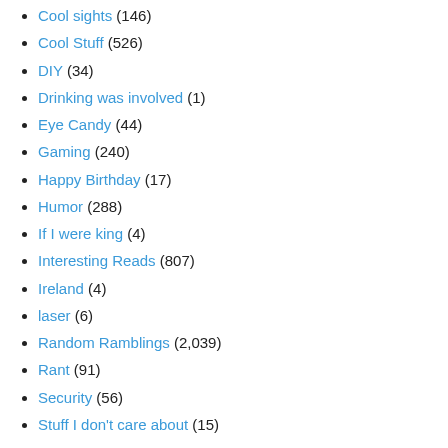Cool sights (146)
Cool Stuff (526)
DIY (34)
Drinking was involved (1)
Eye Candy (44)
Gaming (240)
Happy Birthday (17)
Humor (288)
If I were king (4)
Interesting Reads (807)
Ireland (4)
laser (6)
Random Ramblings (2,039)
Rant (91)
Security (56)
Stuff I don't care about (15)